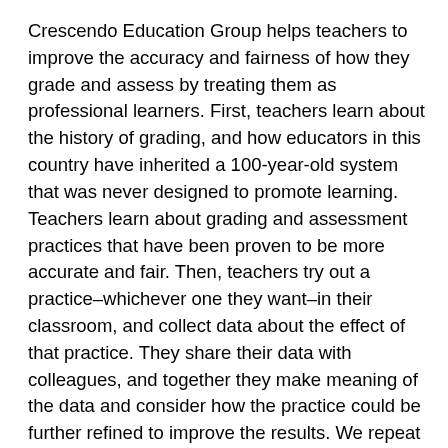Crescendo Education Group helps teachers to improve the accuracy and fairness of how they grade and assess by treating them as professional learners. First, teachers learn about the history of grading, and how educators in this country have inherited a 100-year-old system that was never designed to promote learning. Teachers learn about grading and assessment practices that have been proven to be more accurate and fair. Then, teachers try out a practice–whichever one they want–in their classroom, and collect data about the effect of that practice. They share their data with colleagues, and together they make meaning of the data and consider how the practice could be further refined to improve the results. We repeat this cycle–learning new information, trying new practices, sharing our individual results–throughout the year. By learning from and with each other, teachers build a collective understanding of how improved grading and assessment benefits students. This isn't the normal